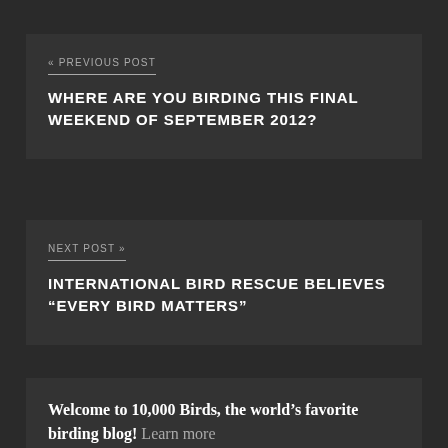« PREVIOUS POST
WHERE ARE YOU BIRDING THIS FINAL WEEKEND OF SEPTEMBER 2012?
NEXT POST »
INTERNATIONAL BIRD RESCUE BELIEVES “EVERY BIRD MATTERS”
Welcome to 10,000 Birds, the world’s favorite birding blog! Learn more